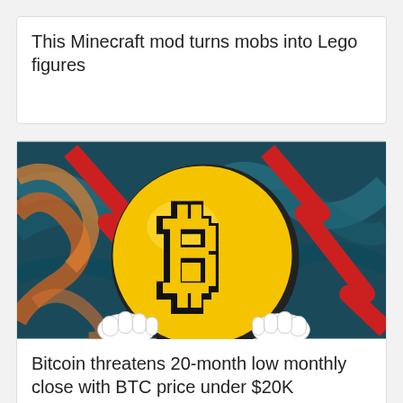This Minecraft mod turns mobs into Lego figures
[Figure (illustration): Bitcoin logo character (yellow B coin with cartoon hands) overlaid on a stylized painting background with red downward arrows, reminiscent of Munch's The Scream]
Bitcoin threatens 20-month low monthly close with BTC price under $20K